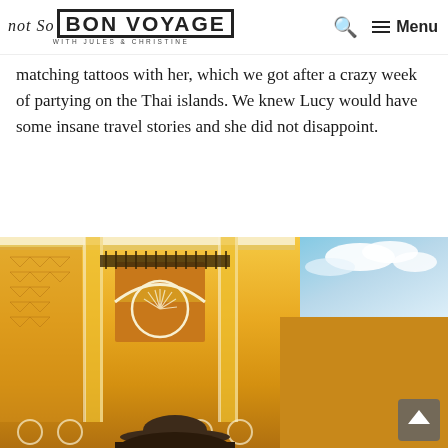Not So BON VOYAGE WITH JULES & CHRISTINE — Search — Menu
matching tattoos with her, which we got after a crazy week of partying on the Thai islands. We knew Lucy would have some insane travel stories and she did not disappoint.
[Figure (photo): Photo of a woman in a wide-brimmed hat standing in front of a grand yellow colonial-style building with ornate white architectural details and arches, blue sky visible in upper right corner.]